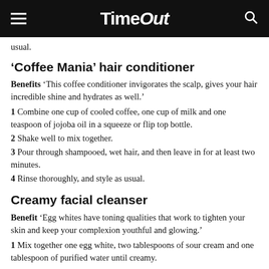TimeOut
usual.
‘Coffee Mania’ hair conditioner
Benefits ‘This coffee conditioner invigorates the scalp, gives your hair incredible shine and hydrates as well.’
1 Combine one cup of cooled coffee, one cup of milk and one teaspoon of jojoba oil in a squeeze or flip top bottle.
2 Shake well to mix together.
3 Pour through shampooed, wet hair, and then leave in for at least two minutes.
4 Rinse thoroughly, and style as usual.
Creamy facial cleanser
Benefit ‘Egg whites have toning qualities that work to tighten your skin and keep your complexion youthful and glowing.’
1 Mix together one egg white, two tablespoons of sour cream and one tablespoon of purified water until creamy.